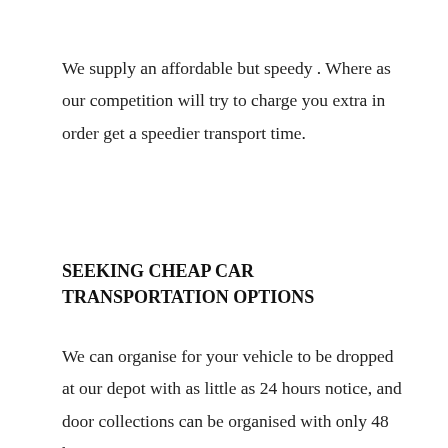We supply an affordable but speedy . Where as our competition will try to charge you extra in order get a speedier transport time.
SEEKING CHEAP CAR TRANSPORTATION OPTIONS
We can organise for your vehicle to be dropped at our depot with as little as 24 hours notice, and door collections can be organised with only 48 hours notice.